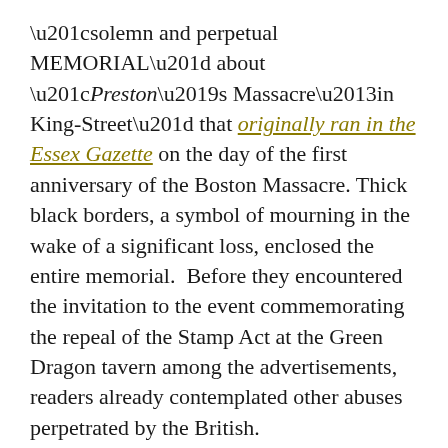“solemn and perpetual MEMORIAL” about “Preston’s Massacre–in King-Street” that originally ran in the Essex Gazette on the day of the first anniversary of the Boston Massacre. Thick black borders, a symbol of mourning in the wake of a significant loss, enclosed the entire memorial.  Before they encountered the invitation to the event commemorating the repeal of the Stamp Act at the Green Dragon tavern among the advertisements, readers already contemplated other abuses perpetrated by the British.
Dual commemorations thus appeared in the Boston-Gazette, spanning the sections devoted to news and advertising, in the first weeks of